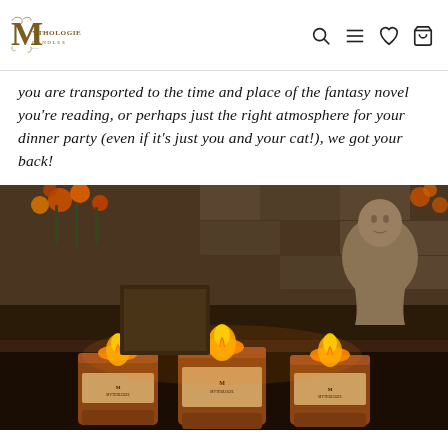Mythologie Candles — navigation header with logo and icons
you are transported to the time and place of the fantasy novel you're reading, or perhaps just the right atmosphere for your dinner party (even if it's just you and your cat!), we got your back!
[Figure (photo): Three lit amber jar Mythologie Candles on a surface, with autumn orange flowers and a stone/clay monk statue bust in a warm, atmospheric setting.]